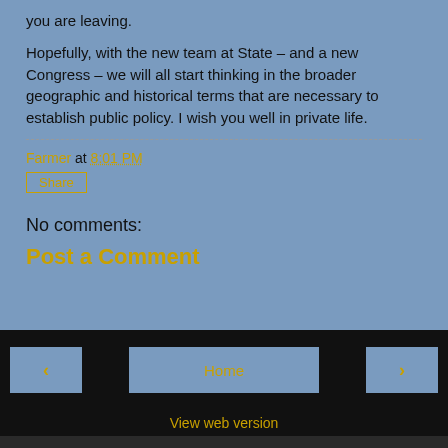you are leaving.
Hopefully, with the new team at State – and a new Congress – we will all start thinking in the broader geographic and historical terms that are necessary to establish public policy. I wish you well in private life.
Farmer at 8:01 PM
Share
No comments:
Post a Comment
< Home > View web version Powered by Blogger.